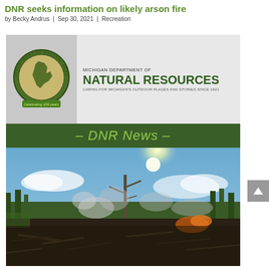DNR seeks information on likely arson fire
by Becky Andrus | Sep 30, 2021 | Recreation
[Figure (logo): Michigan Department of Natural Resources DNR News banner with circular seal badge, green header bar with italic DNR News text, and a photograph of a burned forest clearing with smoke and a lone dead tree under bright sun]
[Figure (photo): Photograph of a burned clearing with smoke rising from debris, fallen logs, and dead trees against a partly cloudy sky with bright sun]